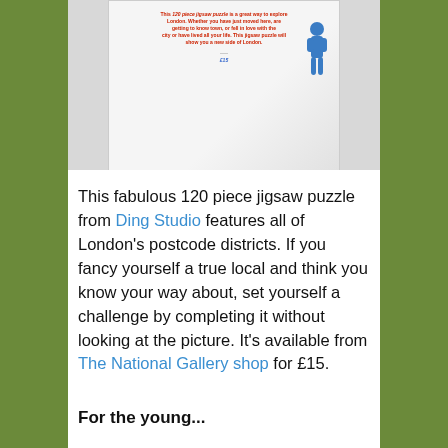[Figure (photo): Photo of a white jigsaw puzzle box with red and blue text on the front and a blue illustrated figure on the right side, shown at an angle against a light background.]
This fabulous 120 piece jigsaw puzzle from Ding Studio features all of London's postcode districts. If you fancy yourself a true local and think you know your way about, set yourself a challenge by completing it without looking at the picture. It's available from The National Gallery shop for £15.
For the young...